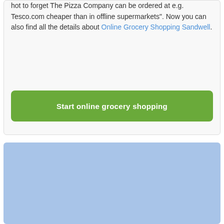hot to forget The Pizza Company can be ordered at e.g. Tesco.com cheaper than in offline supermarkets”. Now you can also find all the details about Online Grocery Shopping Sandwell.
Start online grocery shopping
[Figure (other): A light blue rectangular block, appears to be a placeholder or image area]